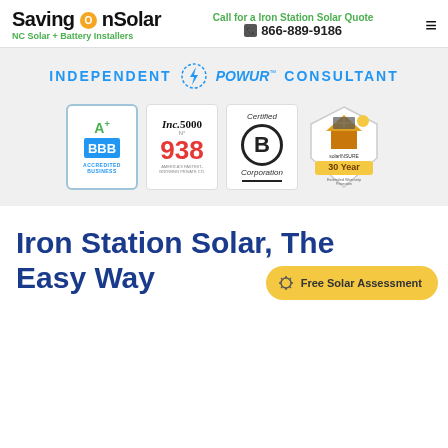SavingOnSolar — NC Solar + Battery Installers | Call for a Iron Station Solar Quote | 866-889-9186
[Figure (logo): Independent Powur Consultant banner with bolt icon, plus four trust badges: BBB A+ Accredited Business, Inc.5000 #938, Certified B Corporation, SolarInsure 30 Year Extended Warranty]
Iron Station Solar, The Easy Way